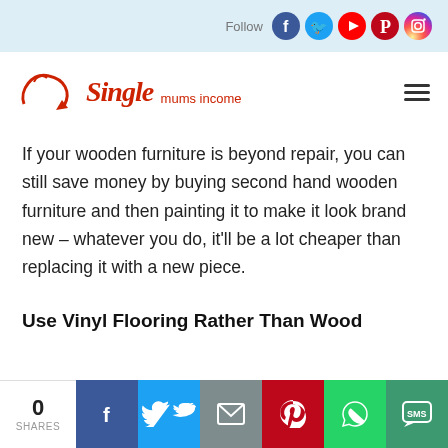Follow [social icons: Facebook, Twitter, YouTube, Pinterest, Instagram]
[Figure (logo): Single Mums Income logo — red cursive script with arrow icon]
If your wooden furniture is beyond repair, you can still save money by buying second hand wooden furniture and then painting it to make it look brand new – whatever you do, it'll be a lot cheaper than replacing it with a new piece.
Use Vinyl Flooring Rather Than Wood
0 SHARES [Facebook, Twitter, Email, Pinterest, WhatsApp, SMS share buttons]